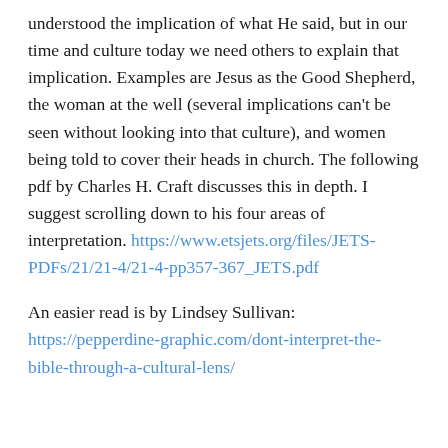understood the implication of what He said, but in our time and culture today we need others to explain that implication. Examples are Jesus as the Good Shepherd, the woman at the well (several implications can't be seen without looking into that culture), and women being told to cover their heads in church. The following pdf by Charles H. Craft discusses this in depth. I suggest scrolling down to his four areas of interpretation. https://www.etsjets.org/files/JETS-PDFs/21/21-4/21-4-pp357-367_JETS.pdf
An easier read is by Lindsey Sullivan: https://pepperdine-graphic.com/dont-interpret-the-bible-through-a-cultural-lens/